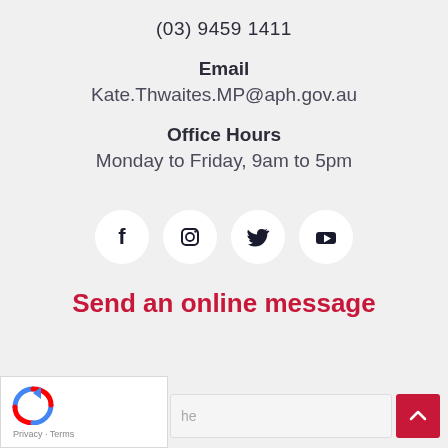(03) 9459 1411
Email
Kate.Thwaites.MP@aph.gov.au
Office Hours
Monday to Friday, 9am to 5pm
[Figure (infographic): Four social media icons (Facebook, Instagram, Twitter, YouTube) in white circles on light grey background]
Send an online message
[Figure (screenshot): reCAPTCHA widget and form input bar with scroll-to-top button]